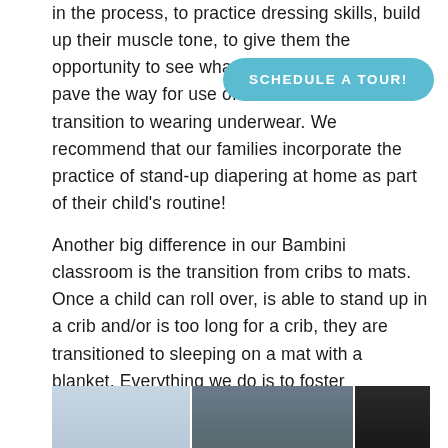in the process, to practice dressing skills, build up their muscle tone, to give them the opportunity to see what is happening, and to pave the way for use of the toilet and the transition to wearing underwear. We recommend that our families incorporate the practice of stand-up diapering at home as part of their child's routine!
[Figure (other): Blue rounded button with text 'SCHEDULE A TOUR!' in white uppercase bold letters]
Another big difference in our Bambini classroom is the transition from cribs to mats. Once a child can roll over, is able to stand up in a crib and/or is too long for a crib, they are transitioned to sleeping on a mat with a blanket. Everything we do is to foster independence and ease of movement.
[Figure (photo): Partial view of a classroom or room interior, showing shelves and equipment, cropped at bottom of page]